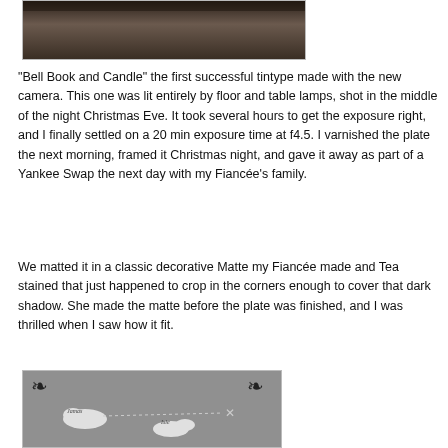[Figure (photo): Partial view of a dark tintype photograph, showing a shadowy interior scene with brown and dark tones.]
"Bell Book and Candle" the first successful tintype made with the new camera. This one was lit entirely by floor and table lamps, shot in the middle of the night Christmas Eve. It took several hours to get the exposure right, and I finally settled on a 20 min exposure time at f4.5. I varnished the plate the next morning, framed it Christmas night, and gave it away as part of a Yankee Swap the next day with my Fiancée's family.
We matted it in a classic decorative Matte my Fiancée made and Tea stained that just happened to crop in the corners enough to cover that dark shadow. She made the matte before the plate was finished, and I was thrilled when I saw how it fit.
[Figure (photo): A decorative map image with grey background, ornamental flourishes in the corners, white land masses, and small italic labels reading 'Jamas' and 'Isle', with an X marker on the right side.]